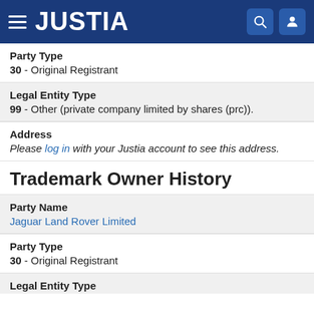JUSTIA
Party Type
30 - Original Registrant
Legal Entity Type
99 - Other (private company limited by shares (prc)).
Address
Please log in with your Justia account to see this address.
Trademark Owner History
Party Name
Jaguar Land Rover Limited
Party Type
30 - Original Registrant
Legal Entity Type